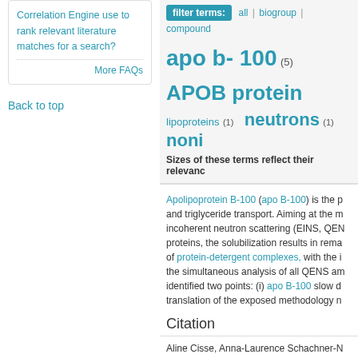Correlation Engine use to rank relevant literature matches for a search?
More FAQs
Back to top
filter terms: all | biogroup | compound
apo b- 100 (5)  APOB protein
lipoproteins (1)  neutrons (1)  noni
Sizes of these terms reflect their relevance
Apolipoprotein B-100 (apo B-100) is the p... and triglyceride transport. Aiming at the m... incoherent neutron scattering (EINS, QEN... proteins, the solubilization results in rema... of protein-detergent complexes, with the i... the simultaneous analysis of all QENS am... identified two points: (i) apo B-100 slow d... translation of the exposed methodology n...
Citation
Aline Cisse, Anna-Laurence Schachner-N... Kornmueller, Judith Peters. Dynamics of A... journal of physical chemistry letters. 2021
Mesh Tags
Substances